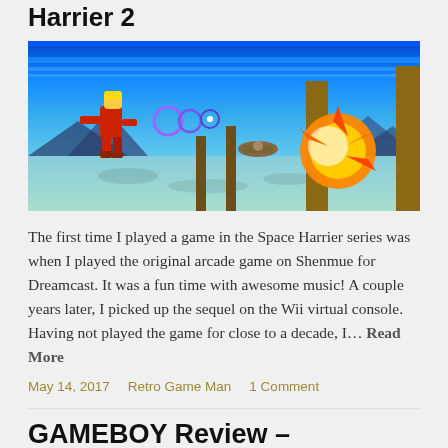Harrier 2
[Figure (screenshot): Gameplay screenshot from Space Harrier II showing a player character in red suit firing at enemies with an explosion on a blue sky background with terrain features]
The first time I played a game in the Space Harrier series was when I played the original arcade game on Shenmue for Dreamcast. It was a fun time with awesome music! A couple years later, I picked up the sequel on the Wii virtual console. Having not played the game for close to a decade, I… Read More
May 14, 2017   Retro Game Man   1 Comment
GAMEBOY Review –